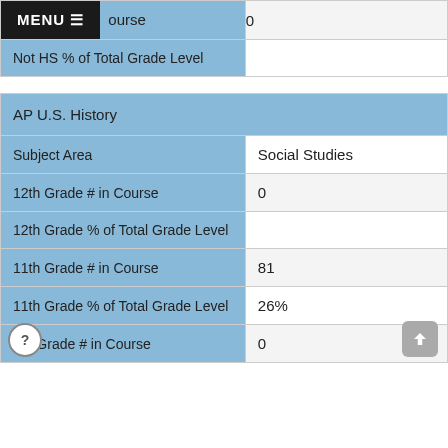| (Menu) ...ourse | 0 |
| Not HS % of Total Grade Level |  |
| AP U.S. History |  |
| Subject Area | Social Studies |
| 12th Grade # in Course | 0 |
| 12th Grade % of Total Grade Level |  |
| 11th Grade # in Course | 81 |
| 11th Grade % of Total Grade Level | 26% |
| _th Grade # in Course | 0 |